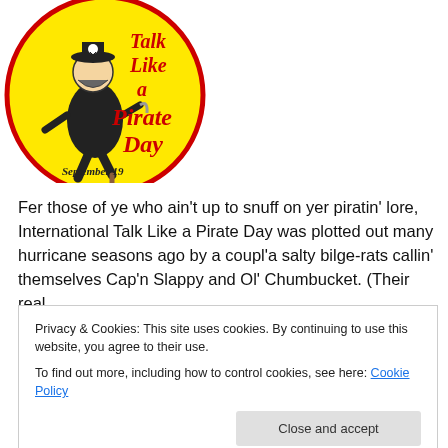[Figure (illustration): International Talk Like a Pirate Day logo — yellow circle with red border, cartoon pirate figure, red text reading 'Talk Like a Pirate Day', black text 'September 19']
Fer those of ye who ain't up to snuff on yer piratin' lore, International Talk Like a Pirate Day was plotted out many hurricane seasons ago by a coupl'a salty bilge-rats callin' themselves Cap'n Slappy and Ol' Chumbucket. (Their real
Privacy & Cookies: This site uses cookies. By continuing to use this website, you agree to their use. To find out more, including how to control cookies, see here: Cookie Policy
Close and accept